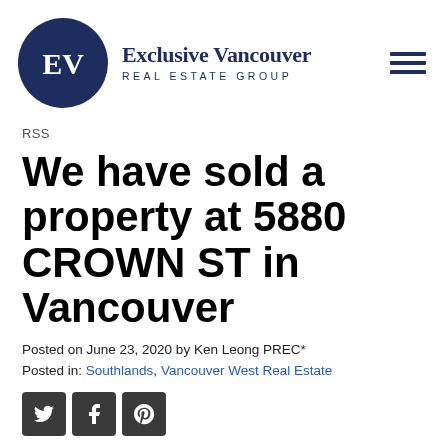[Figure (logo): Exclusive Vancouver Real Estate Group logo: dark navy circle with white 'EV' initials, beside serif brand name text and hamburger menu icon]
RSS
We have sold a property at 5880 CROWN ST in Vancouver
Posted on June 23, 2020 by Ken Leong PREC*
Posted in: Southlands, Vancouver West Real Estate
[Figure (other): Three social media share buttons: Twitter (bird icon), Facebook (f icon), Pinterest (p icon), all on dark grey rounded square buttons]